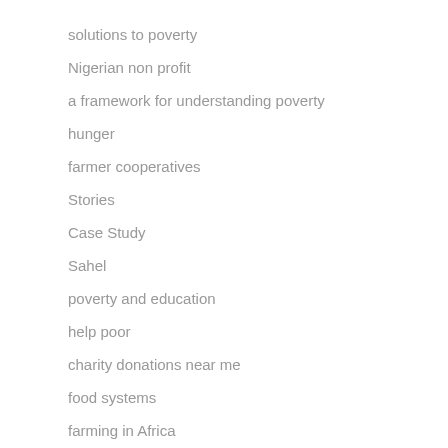solutions to poverty
Nigerian non profit
a framework for understanding poverty
hunger
farmer cooperatives
Stories
Case Study
Sahel
poverty and education
help poor
charity donations near me
food systems
farming in Africa
Jake Harriman